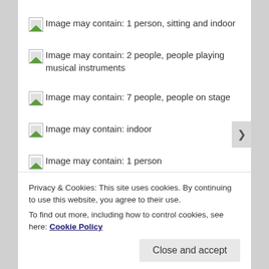Image may contain: 1 person, sitting and indoor
Image may contain: 2 people, people playing musical instruments
Image may contain: 7 people, people on stage
Image may contain: indoor
Image may contain: 1 person
Privacy & Cookies: This site uses cookies. By continuing to use this website, you agree to their use.
To find out more, including how to control cookies, see here: Cookie Policy
Close and accept